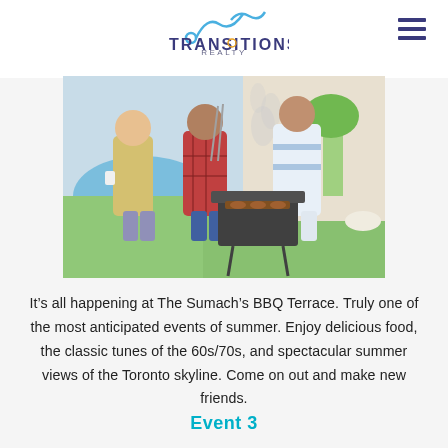[Figure (logo): Transitions Realty logo with stylized wave/chart icon in blue and the text TRANSITIONS REALTY]
[Figure (photo): Three people at a BBQ grill outdoors near a pool, one in yellow shirt, one in red plaid shirt holding skewers, one in blue and white outfit. Smoke rising from grill.]
It’s all happening at The Sumach’s BBQ Terrace. Truly one of the most anticipated events of summer. Enjoy delicious food, the classic tunes of the 60s/70s, and spectacular summer views of the Toronto skyline. Come on out and make new friends.
Event 3